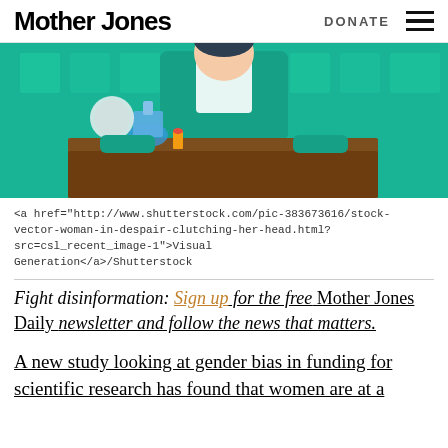Mother Jones  DONATE
[Figure (illustration): Illustration of a scientist or figure in teal clothing standing behind a wooden laboratory bench with chemistry equipment including flasks and containers on a teal background.]
<a href="http://www.shutterstock.com/pic-383673616/stock-vector-woman-in-despair-clutching-her-head.html?src=csl_recent_image-1">Visual Generation</a>/Shutterstock
Fight disinformation: Sign up for the free Mother Jones Daily newsletter and follow the news that matters.
A new study looking at gender bias in funding for scientific research has found that women are at a